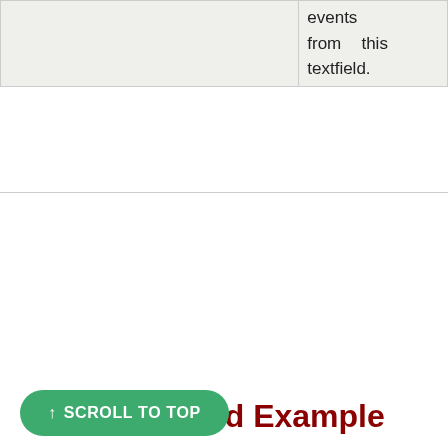|  | events from this textfield. |
InputTextField Example